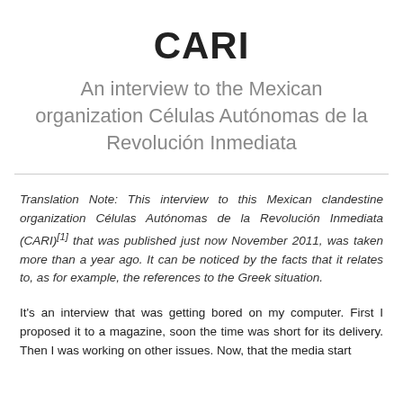CARI
An interview to the Mexican organization Células Autónomas de la Revolución Inmediata
Translation Note: This interview to this Mexican clandestine organization Células Autónomas de la Revolución Inmediata (CARI)[1] that was published just now November 2011, was taken more than a year ago. It can be noticed by the facts that it relates to, as for example, the references to the Greek situation.
It's an interview that was getting bored on my computer. First I proposed it to a magazine, soon the time was short for its delivery. Then I was working on other issues. Now, that the media start